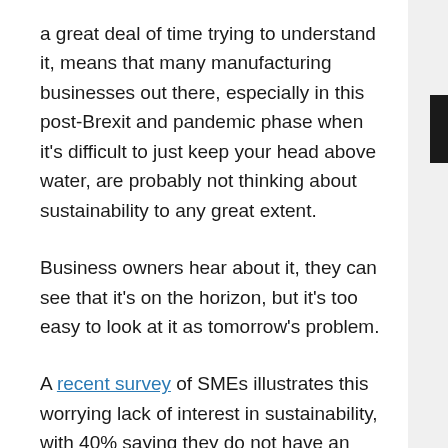a great deal of time trying to understand it, means that many manufacturing businesses out there, especially in this post-Brexit and pandemic phase when it's difficult to just keep your head above water, are probably not thinking about sustainability to any great extent.
Business owners hear about it, they can see that it's on the horizon, but it's too easy to look at it as tomorrow's problem.
A recent survey of SMEs illustrates this worrying lack of interest in sustainability, with 40% saying they do not have an immediate plan in place to become more sustainable, and nearly a third saying they do not intend to